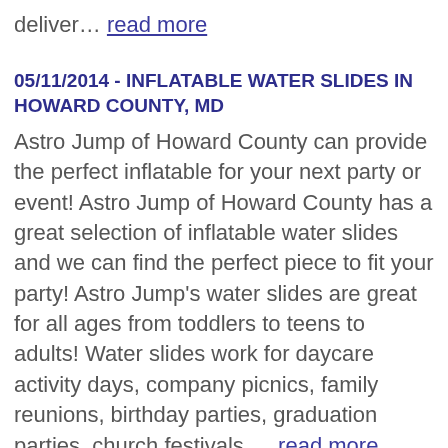deliver… read more
05/11/2014 - INFLATABLE WATER SLIDES IN HOWARD COUNTY, MD
Astro Jump of Howard County can provide the perfect inflatable for your next party or event!  Astro Jump of Howard County has a great selection of inflatable water slides and we can find the perfect piece to fit your party!   Astro Jump's water slides are great for all ages from toddlers to teens to adults!   Water slides work for daycare activity days, company picnics, family reunions, birthday parties, graduation parties, church festivals,… read more